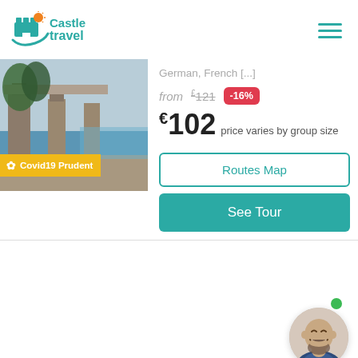[Figure (logo): Castle Travel logo with teal castle/travel icon and orange sun accent]
[Figure (photo): Ancient Greek or Roman ruins with stone columns, sea and sky in background]
Covid19 Prudent
German, French [...]
from £121 -16%
€102 price varies by group size
Routes Map
See Tour
[Figure (photo): Smiling bald man with beard, chat support avatar with green online dot]